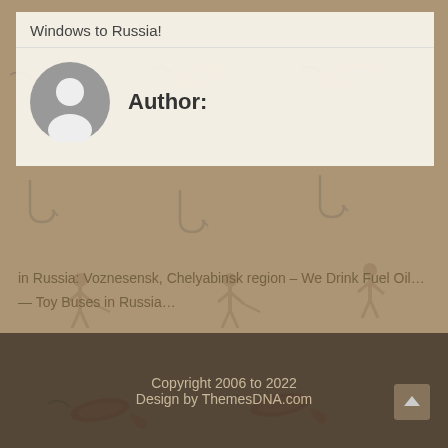Windows to Russia!
Author:
[Figure (illustration): Default avatar/user placeholder icon — grey circle with white person silhouette]
in Russia: Voznesensk, Chelyabinsk region – We Drink Fuel Oil…
— Toy Buses in Russia…
Copyright 2006 to 2022
Design by ThemesDNA.com